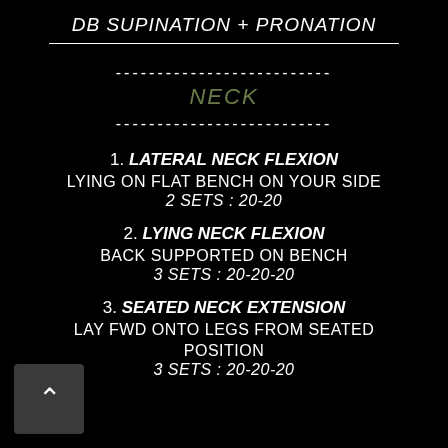DB SUPINATION + PRONATION
NECK
1. LATERAL NECK FLEXION
LYING ON FLAT BENCH ON YOUR SIDE
2 SETS : 20-20
2. LYING NECK FLEXION
BACK SUPPORTED ON BENCH
3 SETS : 20-20-20
3. SEATED NECK EXTENSION
LAY FWD ONTO LEGS FROM SEATED POSITION
3 SETS : 20-20-20